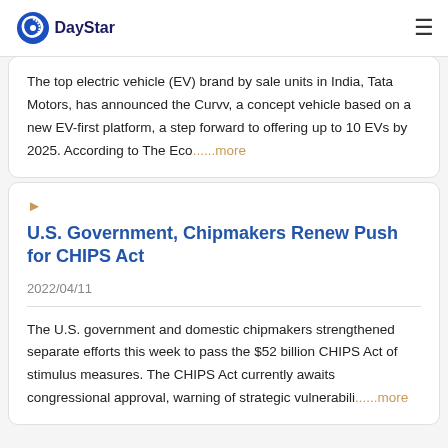DayStar
The top electric vehicle (EV) brand by sale units in India, Tata Motors, has announced the Curvv, a concept vehicle based on a new EV-first platform, a step forward to offering up to 10 EVs by 2025. According to The Eco......more
U.S. Government, Chipmakers Renew Push for CHIPS Act 2022/04/11
The U.S. government and domestic chipmakers strengthened separate efforts this week to pass the $52 billion CHIPS Act of stimulus measures. The CHIPS Act currently awaits congressional approval, warning of strategic vulnerabili......more